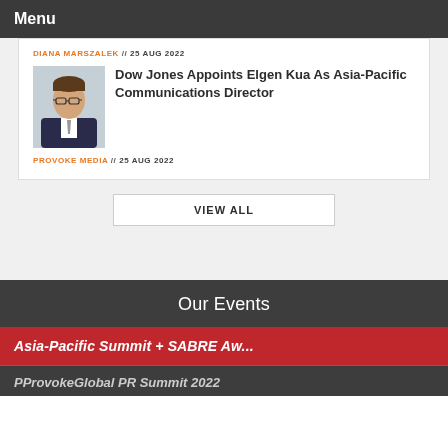Menu
DIANA MARSZALEK // 25 AUG 2022
Dow Jones Appoints Elgen Kua As Asia-Pacific Communications Director
[Figure (photo): Headshot of a man in a dark suit with glasses]
PROVOKE MEDIA // 25 AUG 2022
VIEW ALL
Our Events
Asia-Pacific Summit + SABRE Aw...
PProvkeGlobal PR Summit 2022